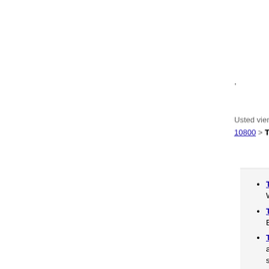.
Usted viene de: Principal > Entretenimiento > Beautif... 10800 > Tyne Daly
Tyne Daly - IMDb - Tyne Daly, Actress: Wisconsin, USA as Ellen Tyne Daly. Sh...
Tyne Daly - Biography - IMDb - Tyne D... Ellen Tyne Daly. She is an actress, kno...
Tyne Daly Pictures, Biography, Albu... and Hope Newell, Ellen Tyne Daly was... she began her ...
Tyne Daly News, Tyne Daly Bio and P... Credits and More for Tyne Daly on TVG...
Tyne Daly - TV.com - Tyne Daly biogra... 1946 in Madison, Wisconsin. Born into...
Tyne Daly Theatre Credits - Broadwa... Master Class on Broadway, reprising th...
Overview for Tyne Daly - Turner Clas... stage and screen, Tyne Daly found tele...
Tyne Daly - About This Person - Mov... Person ... What's On This Week. A daily... Filmography:.
Tyne Daly - Biography - IMDb - Tyne D... Ellen Tyne Daly. She is an actress, kno...